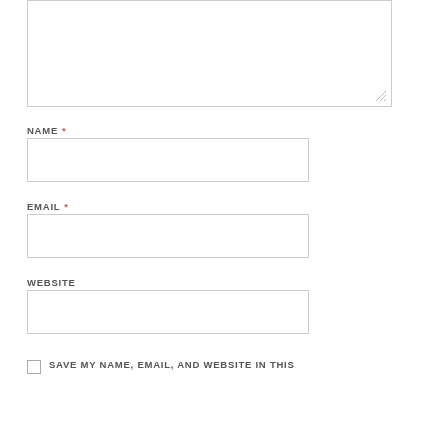[Figure (screenshot): Comment form textarea input box at top of page, partially visible]
NAME *
[Figure (screenshot): Name input field text box]
EMAIL *
[Figure (screenshot): Email input field text box]
WEBSITE
[Figure (screenshot): Website input field text box]
SAVE MY NAME, EMAIL, AND WEBSITE IN THIS